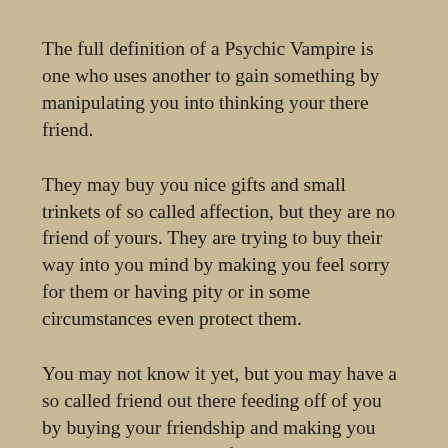The full definition of a Psychic Vampire is one who uses another to gain something by manipulating you into thinking your there friend.
They may buy you nice gifts and small trinkets of so called affection, but they are no friend of yours. They are trying to buy their way into you mind by making you feel sorry for them or having pity or in some circumstances even protect them.
You may not know it yet, but you may have a so called friend out there feeding off of you by buying your friendship and making you think your their closest friend.
In reality, these Vampires are more devastating than movie Vampires, as these Vampires will dispose of you once your usefulness is gone, causing emotional scars which this is